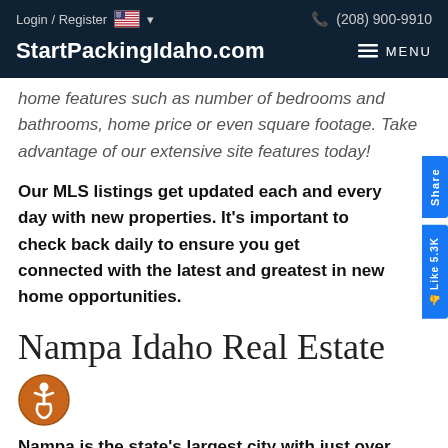Login / Register   🇺🇸 ▾   (208) 900-9910   StartPackingIdaho.com   MENU
home features such as number of bedrooms and bathrooms, home price or even square footage. Take advantage of our extensive site features today!
Our MLS listings get updated each and every day with new properties. It's important to check back daily to ensure you get connected with the latest and greatest in new home opportunities.
Nampa Idaho Real Estate
Nampa is the state's largest city with just over 86,000